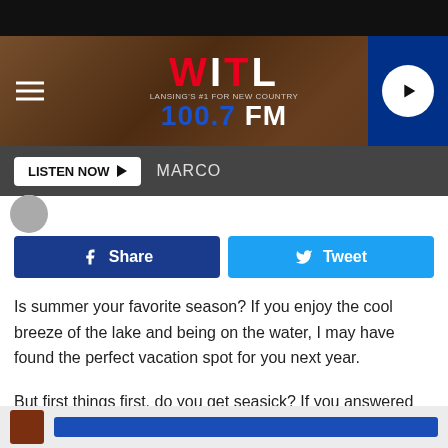[Figure (screenshot): WITL 100.7 FM radio station website header banner with logo and hamburger menu]
LISTEN NOW ▶  MARCO
[Figure (screenshot): Facebook Share and Twitter Tweet social media buttons]
Is summer your favorite season? If you enjoy the cool breeze of the lake and being on the water, I may have found the perfect vacation spot for you next year.
But first things first, do you get seasick? If you answered yes, this may not be the place for you because you'll literally be on the water staying in a houseboat.